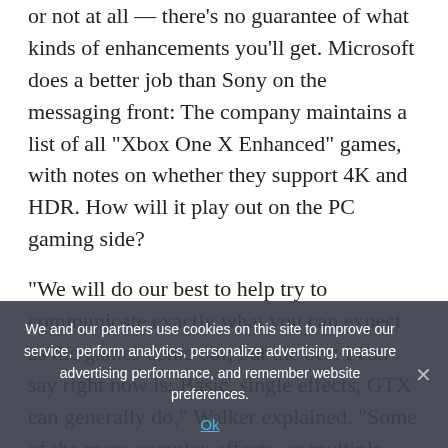or not at all — there's no guarantee of what kinds of enhancements you'll get. Microsoft does a better job than Sony on the messaging front: The company maintains a list of all “Xbox One X Enhanced” games, with notes on whether they support 4K and HDR. How will it play out on the PC gaming side?
“We will do our best to help try to communicate exactly what you can expect as the games come out, but the best I can say right now is: Basic, single effects, GTX can generally do,” Walker explained. “Some of the more complex effects, or multiple effects, you're going to want RTX.”
We and our partners use cookies on this site to improve our service, perform analytics, personalize advertising, measure advertising performance, and remember website preferences.
Ok